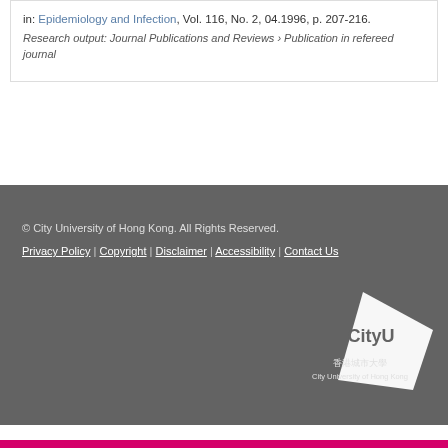in: Epidemiology and Infection, Vol. 116, No. 2, 04.1996, p. 207-216.
Research output: Journal Publications and Reviews › Publication in refereed journal
Privacy Policy | Copyright | Disclaimer | Accessibility | Contact Us
© City University of Hong Kong. All Rights Reserved.
[Figure (logo): City University of Hong Kong logo with Chinese text 香港城市大學]